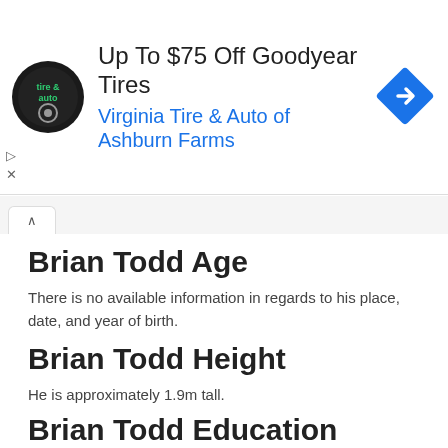[Figure (other): Advertisement banner for Virginia Tire & Auto of Ashburn Farms featuring a circular logo, text 'Up To $75 Off Goodyear Tires' and 'Virginia Tire & Auto of Ashburn Farms', and a blue diamond navigation arrow icon.]
Brian Todd Age
There is no available information in regards to his place, date, and year of birth.
Brian Todd Height
He is approximately 1.9m tall.
Brian Todd Education